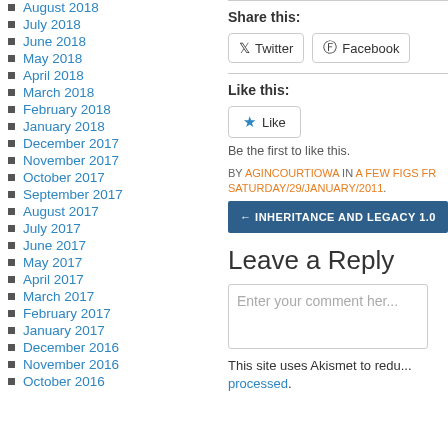August 2018
July 2018
June 2018
May 2018
April 2018
March 2018
February 2018
January 2018
December 2017
November 2017
October 2017
September 2017
August 2017
July 2017
June 2017
May 2017
April 2017
March 2017
February 2017
January 2017
December 2016
November 2016
October 2016
Share this:
Twitter  Facebook
Like this:
Like
Be the first to like this.
BY AGINCOURTIOWA IN A FEW FIGS FR... SATURDAY/29/JANUARY/2011.
← INHERITANCE AND LEGACY 1.0
Leave a Reply
Enter your comment her...
This site uses Akismet to redu... processed.